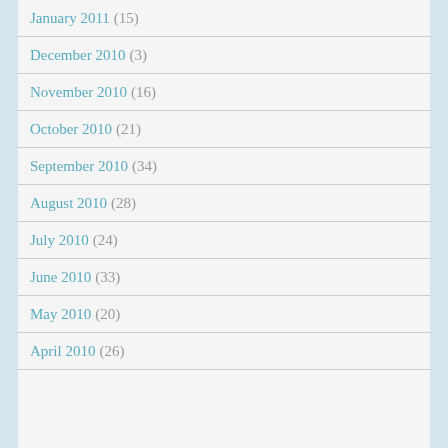January 2011 (15)
December 2010 (3)
November 2010 (16)
October 2010 (21)
September 2010 (34)
August 2010 (28)
July 2010 (24)
June 2010 (33)
May 2010 (20)
April 2010 (26)